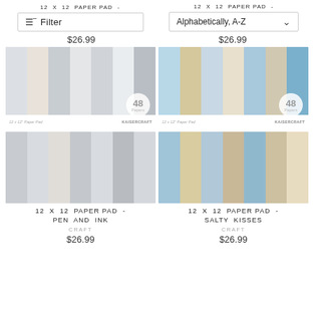12 X 12 PAPER PAD -
12 X 12 PAPER PAD -
$26.99
Alphabetically, A-Z
$26.99
[Figure (photo): Paper pad product image - Pen and Ink collection, grey/white patterned papers, 48 Papers badge, Kaisercraft brand]
[Figure (photo): Paper pad product image - Salty Kisses collection, blue/tan patterned papers, 48 Papers badge, Kaisercraft brand]
[Figure (photo): Paper pad product image - Pen and Ink collection bottom, grey/white dotted patterned papers]
[Figure (photo): Paper pad product image - Salty Kisses collection bottom, blue/tan/brick patterned papers]
12 X 12 PAPER PAD - PEN AND INK
CRAFT
$26.99
12 X 12 PAPER PAD - SALTY KISSES
CRAFT
$26.99